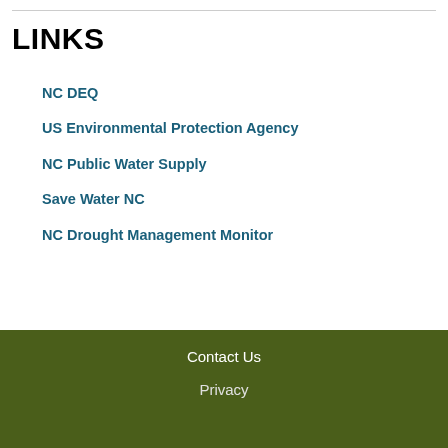LINKS
NC DEQ
US Environmental Protection Agency
NC Public Water Supply
Save Water NC
NC Drought Management Monitor
Contact Us
Privacy